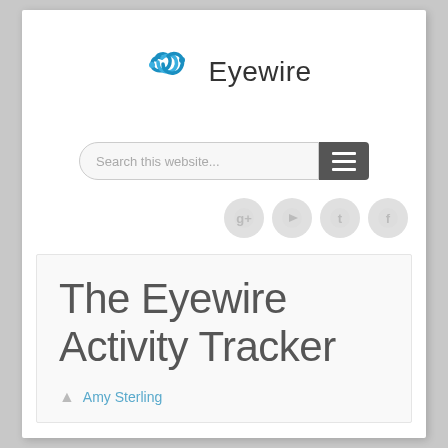[Figure (logo): Eyewire logo: blue chain-link icon and text 'Eyewire']
[Figure (screenshot): Search bar with placeholder 'Search this website...' and a dark hamburger menu button]
[Figure (infographic): Four light gray social media icons: Google+, YouTube, Twitter, Facebook]
The Eyewire Activity Tracker
Amy Sterling